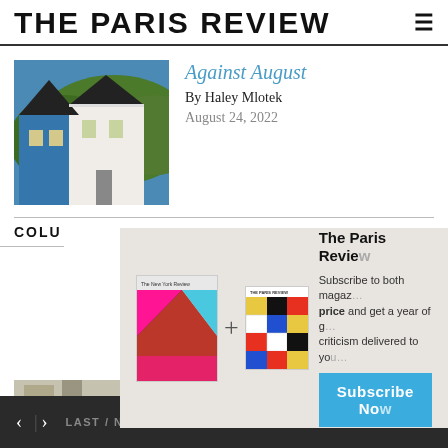THE PARIS REVIEW
[Figure (photo): Painting of white New England style houses in front of green hills, with blue sky, in the style of Edward Hopper]
Against August
By Haley Mlotek
August 24, 2022
COLU
[Figure (photo): Partially visible second article thumbnail image]
[Figure (infographic): Subscription modal overlay showing New York Review and The Paris Review magazine covers with a plus sign between them, heading 'The Paris Review', subscription text, and a blue Subscribe Now button]
< > LAST / NEXT ARTICLE   SHARE